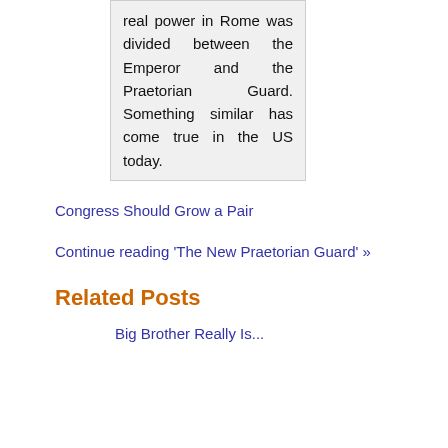real power in Rome was divided between the Emperor and the Praetorian Guard. Something similar has come true in the US today.
Congress Should Grow a Pair
Continue reading 'The New Praetorian Guard' »
Related Posts
Big Brother Really Is...